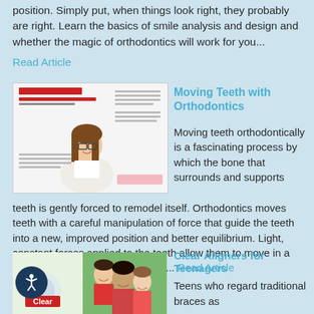position. Simply put, when things look right, they probably are right. Learn the basics of smile analysis and design and whether the magic of orthodontics will work for you...
Read Article
[Figure (photo): Article thumbnail showing a smiling girl with glasses - Moving Teeth With Orthodontics magazine spread]
Moving Teeth with Orthodontics
Moving teeth orthodontically is a fascinating process by which the bone that surrounds and supports teeth is gently forced to remodel itself. Orthodontics moves teeth with a careful manipulation of force that guide the teeth into a new, improved position and better equilibrium. Light, constant forces applied to the teeth allow them to move in a predictable manner and direction...
Read Article
[Figure (photo): Article thumbnail for Clear Aligners for Teenagers showing group of teens smiling and aligner device]
Clear Aligners for Teenagers
Teens who regard traditional braces as